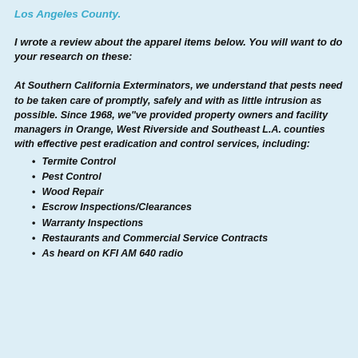Los Angeles County.
I wrote a review about the apparel items below. You will want to do your research on these:
At Southern California Exterminators, we understand that pests need to be taken care of promptly, safely and with as little intrusion as possible. Since 1968, we"ve provided property owners and facility managers in Orange, West Riverside and Southeast L.A. counties with effective pest eradication and control services, including:
Termite Control
Pest Control
Wood Repair
Escrow Inspections/Clearances
Warranty Inspections
Restaurants and Commercial Service Contracts
As heard on KFI AM 640 radio